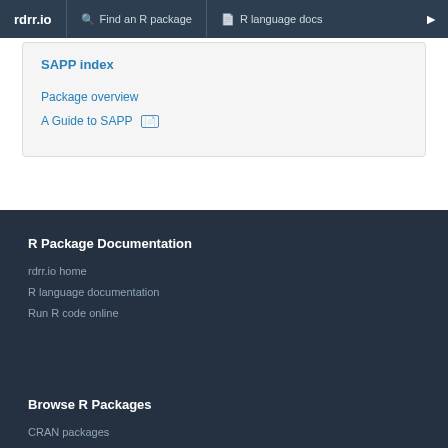rdrr.io  Find an R package  R language docs
SAPP index
Package overview
A Guide to SAPP 📄
R Package Documentation
rdrr.io home
R language documentation
Run R code online
Browse R Packages
CRAN packages